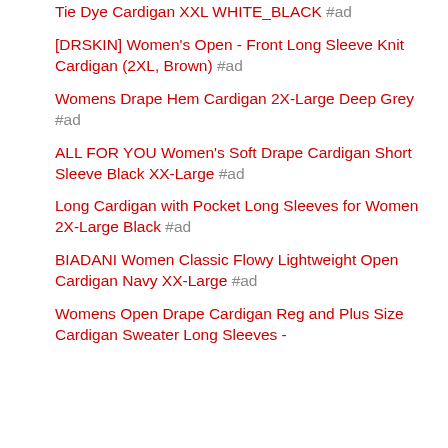Tie Dye Cardigan XXL WHITE_BLACK #ad
[DRSKIN] Women's Open - Front Long Sleeve Knit Cardigan (2XL, Brown) #ad
Womens Drape Hem Cardigan 2X-Large Deep Grey #ad
ALL FOR YOU Women's Soft Drape Cardigan Short Sleeve Black XX-Large #ad
Long Cardigan with Pocket Long Sleeves for Women 2X-Large Black #ad
BIADANI Women Classic Flowy Lightweight Open Cardigan Navy XX-Large #ad
Womens Open Drape Cardigan Reg and Plus Size Cardigan Sweater Long Sleeves -